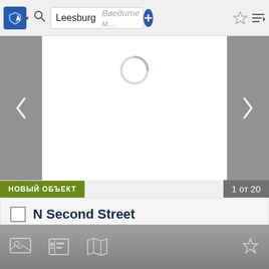[Figure (screenshot): App toolbar with shield icon, search field showing 'Leesburg', placeholder text 'Введите м...', crosshair icon, plus button, star icon, sort icon]
[Figure (screenshot): Photo carousel area with left/right gray arrow buttons and a loading spinner circle in the center]
НОВЫЙ ОБЪЕКТ
1 от 20
N Second Street
N Second Street Leesburg, Индиана 46538 Соедине...
$1,200,000
[Figure (screenshot): Bottom tab bar with photo icon, contact card icon, map icon, and star/bookmark icon on gray gradient background]